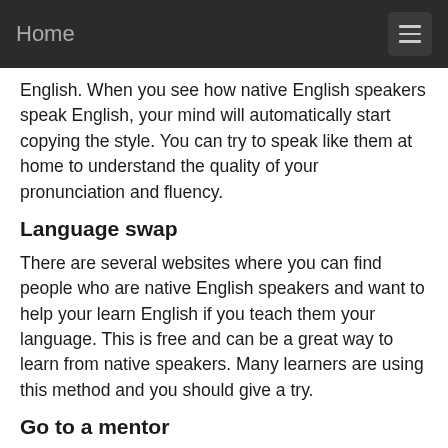Home
English. When you see how native English speakers speak English, your mind will automatically start copying the style. You can try to speak like them at home to understand the quality of your pronunciation and fluency.
Language swap
There are several websites where you can find people who are native English speakers and want to help your learn English if you teach them your language. This is free and can be a great way to learn from native speakers. Many learners are using this method and you should give a try.
Go to a mentor